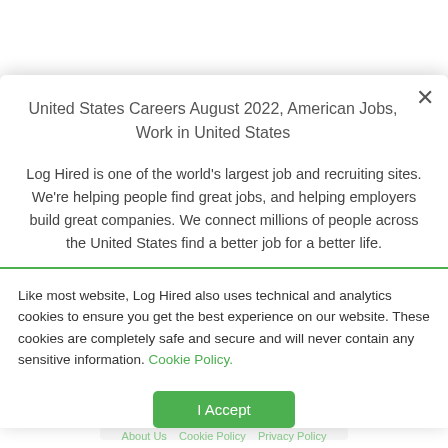United States Careers August 2022, American Jobs, Work in United States
Log Hired is one of the world's largest job and recruiting sites. We're helping people find great jobs, and helping employers build great companies. We connect millions of people across the United States find a better job for a better life.
Like most website, Log Hired also uses technical and analytics cookies to ensure you get the best experience on our website. These cookies are completely safe and secure and will never contain any sensitive information. Cookie Policy.
I Accept
About Us   Cookie Policy   Privacy Policy